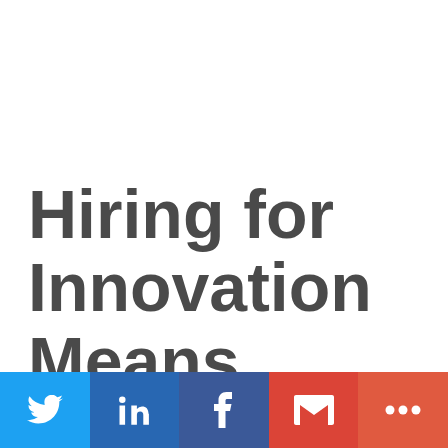Hiring for Innovation Means Hiring for Transformation
[Figure (infographic): Social sharing bar with Twitter, LinkedIn, Facebook, Gmail, and More buttons]